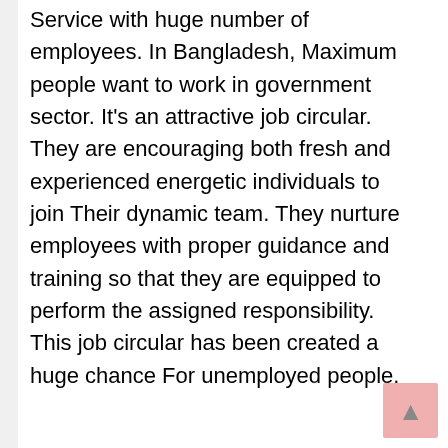Service with huge number of employees. In Bangladesh, Maximum people want to work in government sector. It's an attractive job circular. They are encouraging both fresh and experienced energetic individuals to join Their dynamic team. They nurture employees with proper guidance and training so that they are equipped to perform the assigned responsibility. This job circular has been created a huge chance For unemployed people.
If you want to get every latest and updated news and job circular like our Facebook Page